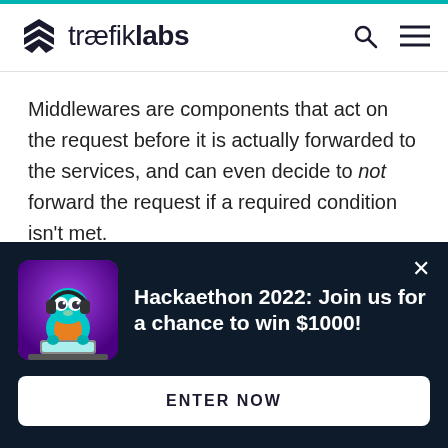traefiklabs
Middlewares are components that act on the request before it is actually forwarded to the services, and can even decide to not forward the request if a required condition isn't met.
At release, Traefik comes with the following middlewares: AddPrefix (to add a prefix to the
[Figure (illustration): Dark popup banner with a cartoon gopher mascot wearing headphones at a laptop, with text: Hackaethon 2022: Join us for a chance to win $1000! and an ENTER NOW button]
Hackaethon 2022: Join us for a chance to win $1000!
ENTER NOW